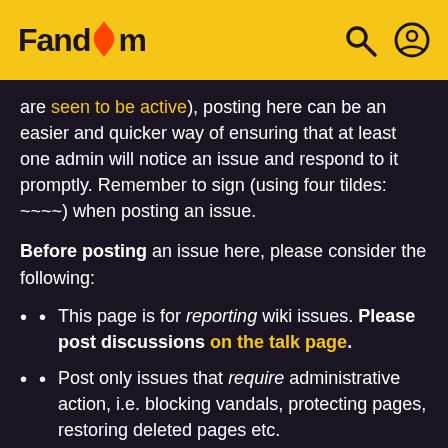Fandom
are seen to be active), posting here can be an easier and quicker way of ensuring that at least one admin will notice an issue and respond to it promptly. Remember to sign (using four tildes: ~~~~) when posting an issue.
Before posting an issue here, please consider the following:
This page is for reporting wiki issues. Please post discussions on the talk page.
Post only issues that require administrative action, i.e. blocking vandals, protecting pages, restoring deleted pages etc.
Do not post deletion requests here. Deletion requests should be made by adding